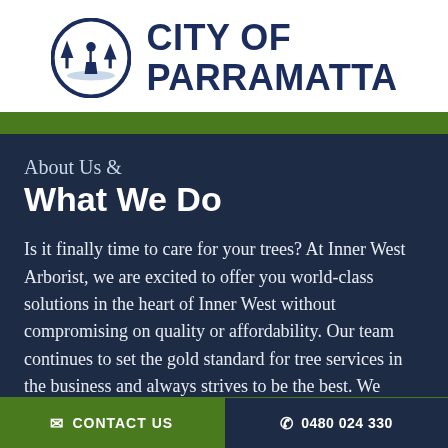[Figure (logo): City of Parramatta logo — circular emblem with a figure and trees in dark navy, alongside bold dark navy text reading CITY OF PARRAMATTA]
About Us &
What We Do
Is it finally time to care for your trees? At Inner West Arborist, we are excited to offer you world-class solutions in the heart of Inner West without compromising on quality or affordability. Our team continues to set the gold standard for tree services in the business and always strives to be the best. We provide access
✉ CONTACT US    ☎ 0480 024 330